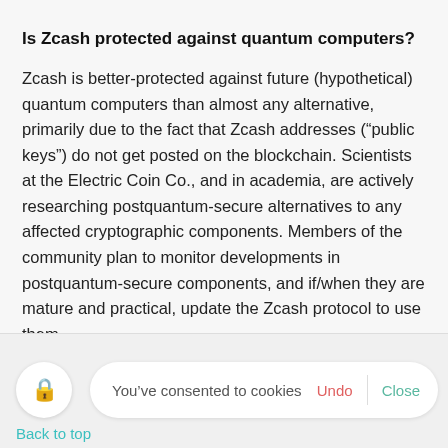Is Zcash protected against quantum computers?
Zcash is better-protected against future (hypothetical) quantum computers than almost any alternative, primarily due to the fact that Zcash addresses (“public keys”) do not get posted on the blockchain. Scientists at the Electric Coin Co., and in academia, are actively researching postquantum-secure alternatives to any affected cryptographic components. Members of the community plan to monitor developments in postquantum-secure components, and if/when they are mature and practical, update the Zcash protocol to use them.
You’ve consented to cookies  Undo  Close  Back to top